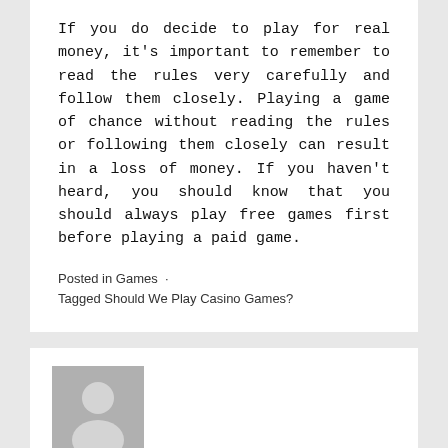If you do decide to play for real money, it's important to remember to read the rules very carefully and follow them closely. Playing a game of chance without reading the rules or following them closely can result in a loss of money. If you haven't heard, you should know that you should always play free games first before playing a paid game.
Posted in Games · Tagged Should We Play Casino Games?
[Figure (illustration): Gray placeholder avatar image showing a generic person silhouette]
Published by Admin